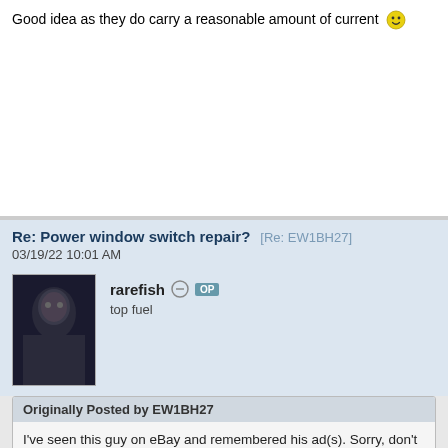Good idea as they do carry a reasonable amount of current 🙂
Re: Power window switch repair? [Re: EW1BH27] 03/19/22 10:01 AM
rarefish OP
top fuel
Originally Posted by EW1BH27
I've seen this guy on eBay and remembered his ad(s). Sorry, don't know
https://www.ebay.com/itm/255344685978?fits=Model%3ACuda&hash=it
[Figure (infographic): Infolinks ad banner with Frontgate SALES advertisement: 20% off sitewide plus free shipping from August 19-22, frontgate.com]